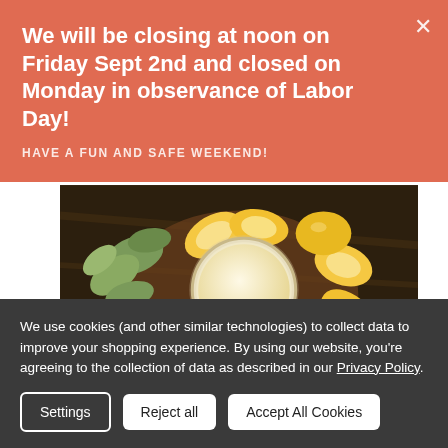We will be closing at noon on Friday Sept 2nd and closed on Monday in observance of Labor Day!
HAVE A FUN AND SAFE WEEKEND!
[Figure (photo): Overhead view of lemon slices, whole lemons, herbs/sage leaves, and a round bowl arranged on a wooden board]
We use cookies (and other similar technologies) to collect data to improve your shopping experience. By using our website, you're agreeing to the collection of data as described in our Privacy Policy.